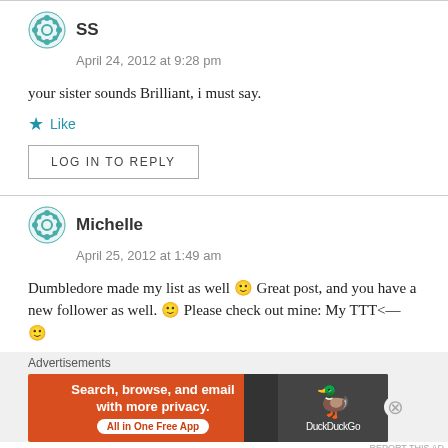SS
April 24, 2012 at 9:28 pm
your sister sounds Brilliant, i must say.
Like
LOG IN TO REPLY
Michelle
April 25, 2012 at 1:49 am
Dumbledore made my list as well 🙂 Great post, and you have a new follower as well. 🙂 Please check out mine: My TTT<— 🙂
Advertisements
[Figure (other): DuckDuckGo advertisement banner: Search, browse, and email with more privacy. All in One Free App]